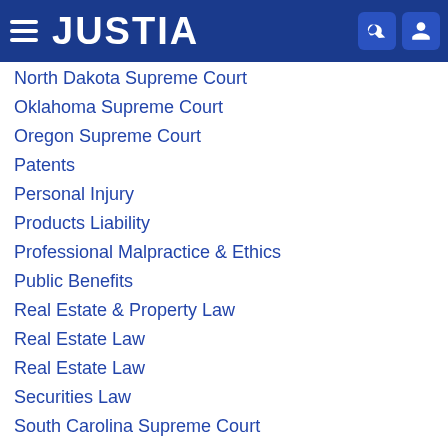JUSTIA
North Dakota Supreme Court
Oklahoma Supreme Court
Oregon Supreme Court
Patents
Personal Injury
Products Liability
Professional Malpractice & Ethics
Public Benefits
Real Estate & Property Law
Real Estate Law
Real Estate Law
Securities Law
South Carolina Supreme Court
Supreme Court of Alabama
Supreme Court of Illinois
Supreme Court of Mississippi
Supreme Court of Nevada
Supreme Court of New Jersey
Supreme Court of Ohio
Supreme Court of T…